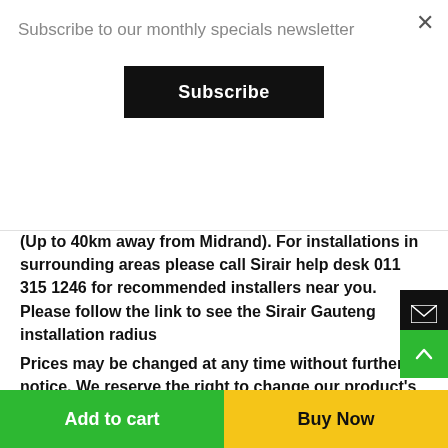Subscribe to our monthly specials newsletter
Subscribe
(Up to 40km away from Midrand). For installations in surrounding areas please call Sirair help desk 011 315 1246 for recommended installers near you. Please follow the link to see the Sirair Gauteng installation radius
Prices may be changed at any time without further notice. We reserve the right to change our product's prices at any time without further notice. However, if you have ordered but not yet paid for a product, we guarantee the price for one week from when the order
Add to cart
Buy Now